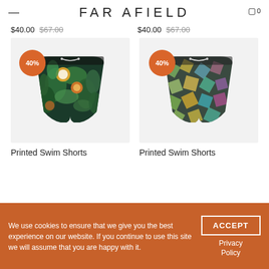FAR AFIELD
$40.00  $67.00
$40.00  $67.00
[Figure (photo): Tropical print swim shorts with 40% discount badge]
[Figure (photo): Geometric print swim shorts with 40% discount badge]
Printed Swim Shorts
Printed Swim Shorts
We use cookies to ensure that we give you the best experience on our website. If you continue to use this site we will assume that you are happy with it.